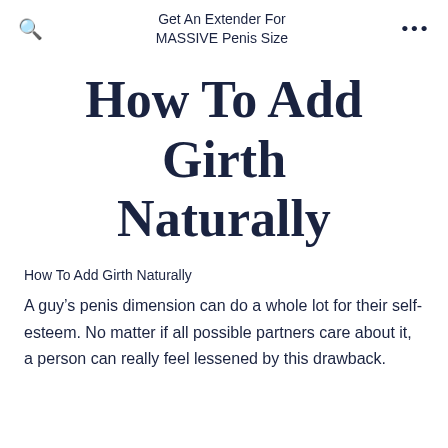Get An Extender For MASSIVE Penis Size
How To Add Girth Naturally
How To Add Girth Naturally
A guy's penis dimension can do a whole lot for their self-esteem. No matter if all possible partners care about it, a person can really feel lessened by this drawback.